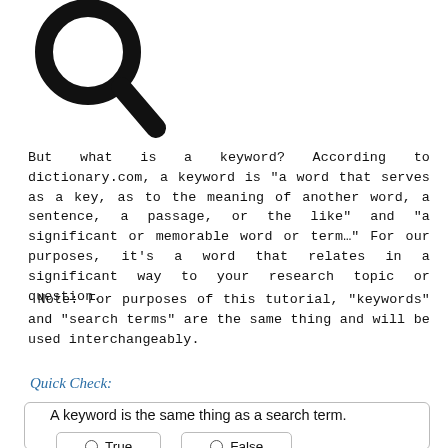[Figure (illustration): Large magnifying glass icon (search icon) in black, cropped at top-left of page.]
But what is a keyword? According to dictionary.com, a keyword is “a word that serves as a key, as to the meaning of another word, a sentence, a passage, or the like” and “a significant or memorable word or term...” For our purposes, it’s a word that relates in a significant way to your research topic or question.
Note: For purposes of this tutorial, “keywords” and “search terms” are the same thing and will be used interchangeably.
Quick Check:
A keyword is the same thing as a search term.
True
False